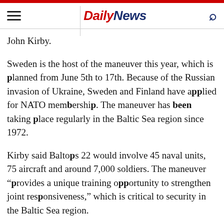Daily News
John Kirby.
Sweden is the host of the maneuver this year, which is planned from June 5th to 17th. Because of the Russian invasion of Ukraine, Sweden and Finland have applied for NATO membership. The maneuver has been taking place regularly in the Baltic Sea region since 1972.
Kirby said Baltops 22 would involve 45 naval units, 75 aircraft and around 7,000 soldiers. The maneuver "provides a unique training opportunity to strengthen joint responsiveness," which is critical to security in the Baltic Sea region.
Among other things, amphibious operations, anti-submarine warfare, air defense, mine clearance,